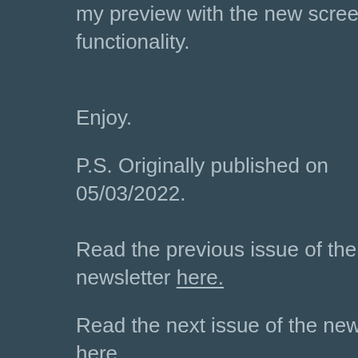my preview with the new screen flow functionality.
Enjoy.
P.S. Originally published on 05/03/2022.
Read the previous issue of the newsletter here.
Read the next issue of the newsletter here.
Subscribe to the weekly educational Salesforce Flow